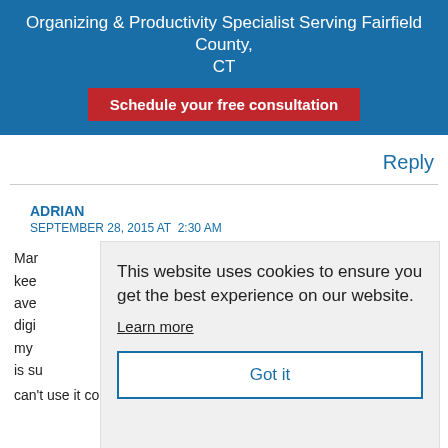Organizing & Productivity Specialist Serving Fairfield County, CT
Schedule your free consultation
Reply
ADRIAN
SEPTEMBER 28, 2015 AT  2:30 AM
Mar... kee... ave... digi... my ... is su... can't use it consistently. I'm not sure if I feel my life is
This website uses cookies to ensure you get the best experience on our website.
Learn more
Got it